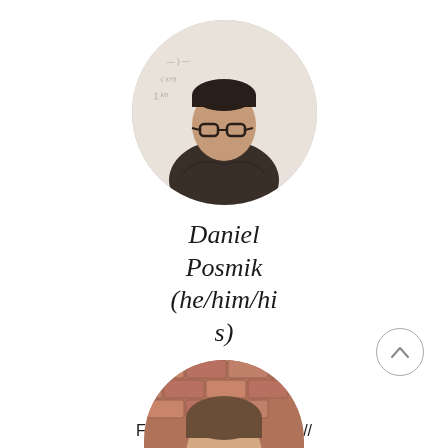[Figure (photo): Circular profile photo of Daniel Posmik, a man with glasses and dark hair wearing a dark brown long-sleeve shirt with arms crossed, standing in front of a whiteboard with equations]
Daniel Posmik (he/him/his)
[Figure (logo): LinkedIn logo icon in grey]
Founder and President // Class of 2022 (BBA, BS)
[Figure (photo): Circular profile photo of a second person, partially visible at the bottom of the page, with a brick wall background]